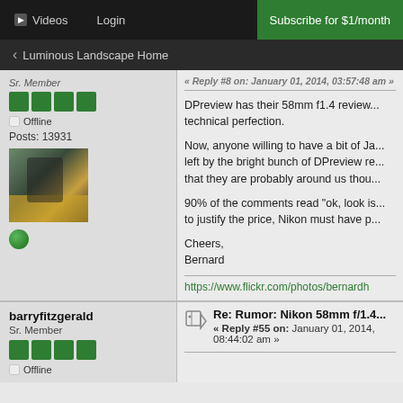Videos | Login | Subscribe for $1/month
< Luminous Landscape Home
Sr. Member
Offline
Posts: 13931
« Reply #8 on: January 01, 2014, 03:57:48 am »
DPreview has their 58mm f1.4 review... technical perfection.
Now, anyone willing to have a bit of Ja... left by the bright bunch of DPreview re... that they are probably around us thou...
90% of the comments read "ok, look is... to justify the price, Nikon must have p...
Cheers,
Bernard
https://www.flickr.com/photos/bernardh
barryfitzgerald
Sr. Member
Re: Rumor: Nikon 58mm f/1.4... « Reply #55 on: January 01, 2014, 08:44:02 am »
Offline